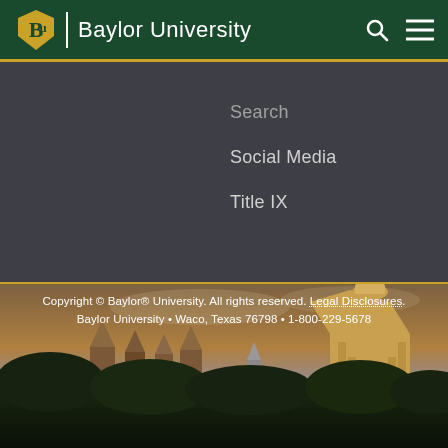Baylor University
Search
Social Media
Title IX
[Figure (photo): Baylor University campus skyline at dusk showing gothic spires and the Pat Neff Hall dome with golden tower, surrounded by trees, warm sky tones]
Copyright © Baylor® University. All rights reserved. Legal Disclosures. Baylor University • Waco, Texas 76798 • 1-800-229-5678